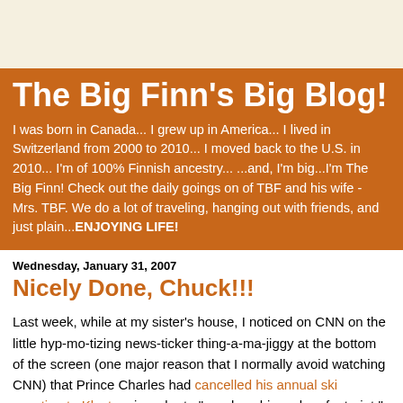The Big Finn's Big Blog!
I was born in Canada... I grew up in America... I lived in Switzerland from 2000 to 2010... I moved back to the U.S. in 2010... I'm of 100% Finnish ancestry... ...and, I'm big...I'm The Big Finn! Check out the daily goings on of TBF and his wife - Mrs. TBF. We do a lot of traveling, hanging out with friends, and just plain...ENJOYING LIFE!
Wednesday, January 31, 2007
Nicely Done, Chuck!!!
Last week, while at my sister's house, I noticed on CNN on the little hyp-mo-tizing news-ticker thing-a-ma-jiggy at the bottom of the screen (one major reason that I normally avoid watching CNN) that Prince Charles had cancelled his annual ski vacation to Klosters in order to "...reduce his carbon footprint." Of course, the ticker made no mention of the fact that there hasn't been too much snow in Switzerland this